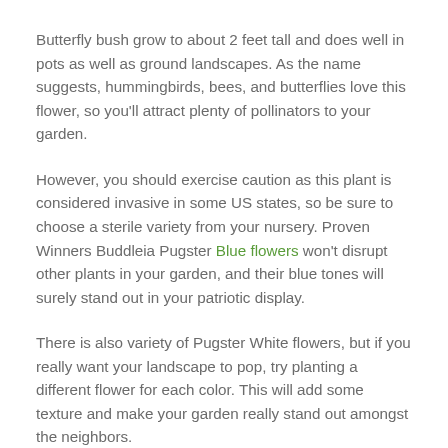Butterfly bush grow to about 2 feet tall and does well in pots as well as ground landscapes. As the name suggests, hummingbirds, bees, and butterflies love this flower, so you'll attract plenty of pollinators to your garden.
However, you should exercise caution as this plant is considered invasive in some US states, so be sure to choose a sterile variety from your nursery. Proven Winners Buddleia Pugster Blue flowers won't disrupt other plants in your garden, and their blue tones will surely stand out in your patriotic display.
There is also variety of Pugster White flowers, but if you really want your landscape to pop, try planting a different flower for each color. This will add some texture and make your garden really stand out amongst the neighbors.